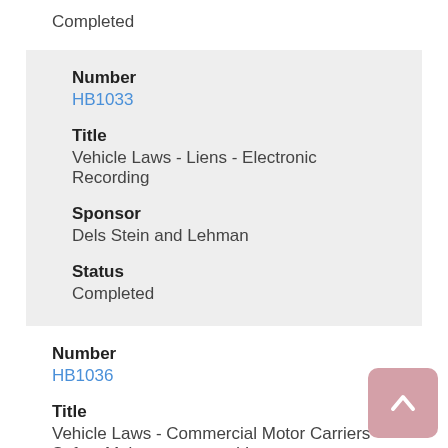Completed
Number
HB1033
Title
Vehicle Laws - Liens - Electronic Recording
Sponsor
Dels Stein and Lehman
Status
Completed
Number
HB1036
Title
Vehicle Laws - Commercial Motor Carriers - Safety Maintenance, and Insurance Information